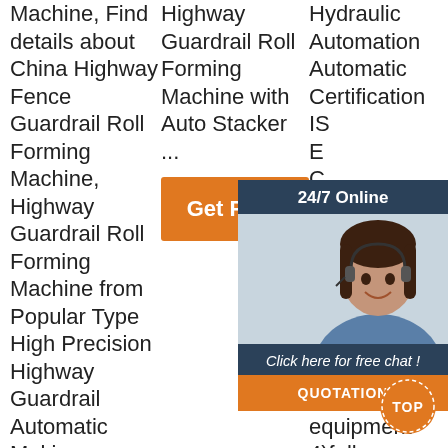Machine, Find details about China Highway Fence Guardrail Roll Forming Machine, Highway Guardrail Roll Forming Machine from Popular Type High Precision Highway Guardrail Automatic Making Machine -
Highway Guardrail Roll Forming Machine with Auto Stacker ...
[Figure (other): Orange 'Get Price' button]
Hydraulic Automation Automatic Certification IS... E... C... g... fo... m... 1)... te... 2)PLC control box 3)a full set of equipment 4)fully automatic
[Figure (infographic): 24/7 Online chat widget with agent photo, 'Click here for free chat!' text, and QUOTATION button]
[Figure (other): Orange circular TOP button]